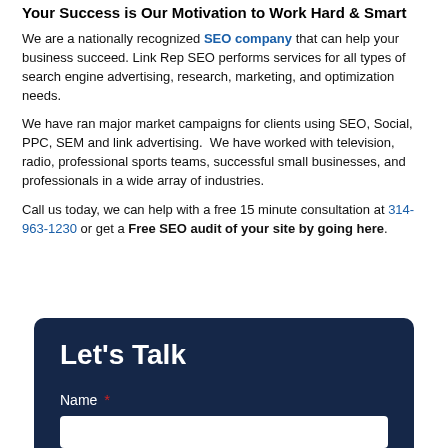Your Success is Our Motivation to Work Hard & Smart
We are a nationally recognized SEO company that can help your business succeed. Link Rep SEO performs services for all types of search engine advertising, research, marketing, and optimization needs.
We have ran major market campaigns for clients using SEO, Social, PPC, SEM and link advertising. We have worked with television, radio, professional sports teams, successful small businesses, and professionals in a wide array of industries.
Call us today, we can help with a free 15 minute consultation at 314-963-1230 or get a Free SEO audit of your site by going here.
Let's Talk
Name *